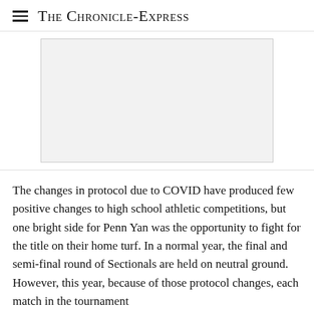The Chronicle-Express
[Figure (other): Advertisement placeholder area, light gray rectangle with border]
The changes in protocol due to COVID have produced few positive changes to high school athletic competitions, but one bright side for Penn Yan was the opportunity to fight for the title on their home turf. In a normal year, the final and semi-final round of Sectionals are held on neutral ground. However, this year, because of those protocol changes, each match in the tournament